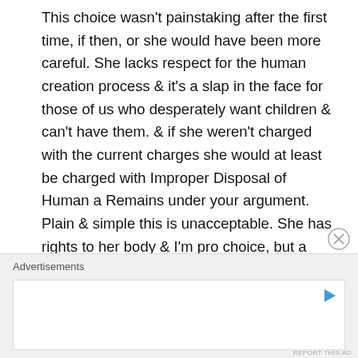This choice wasn't painstaking after the first time, if then, or she would have been more careful. She lacks respect for the human creation process & it's a slap in the face for those of us who desperately want children & can't have them. & if she weren't charged with the current charges she would at least be charged with Improper Disposal of Human a Remains under your argument. Plain & simple this is unacceptable. She has rights to her body & I'm pro choice, but a woman should be of sound mind & body to make good choices & repeated self abortions is completely
Advertisements